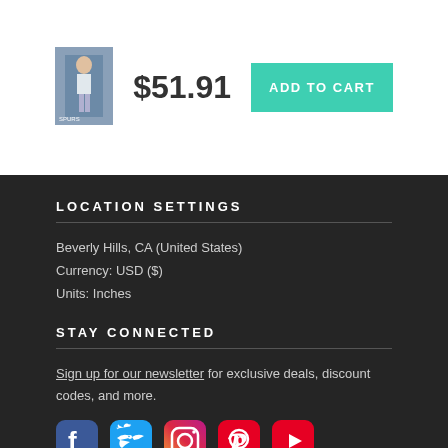[Figure (photo): Product thumbnail of an NBA basketball player photo print]
$51.91
ADD TO CART
LOCATION SETTINGS
Beverly Hills, CA (United States)
Currency: USD ($)
Units: Inches
STAY CONNECTED
Sign up for our newsletter for exclusive deals, discount codes, and more.
[Figure (infographic): Social media icons: Facebook, Twitter, Instagram, Pinterest, YouTube]
Copyright © 2022 photostore.nba.com - All Rights Reserved - Website Powered by Fine Art America / Pixels